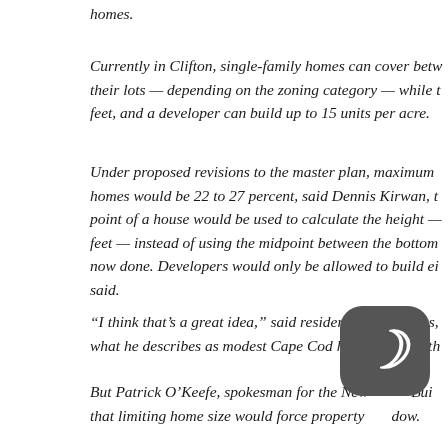homes.
Currently in Clifton, single-family homes can cover betw their lots — depending on the zoning category — while feet, and a developer can build up to 15 units per acre.
Under proposed revisions to the master plan, maximum homes would be 22 to 27 percent, said Dennis Kirwan, t point of a house would be used to calculate the height — feet — instead of using the midpoint between the bottom now done. Developers would only be allowed to build ei said.
“I think that’s a great idea,” said resident Jeff Stephens, what he describes as modest Cape Cod homes in the Ath
But Patrick O’Keefe, spokesman for the New Bui that limiting home size would force property dow.